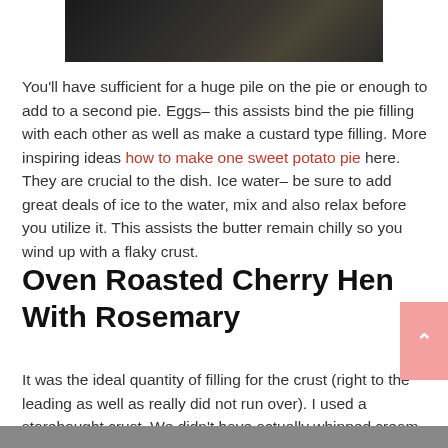[Figure (photo): Partial photo at top of page, mostly dark/black background]
You'll have sufficient for a huge pile on the pie or enough to add to a second pie. Eggs– this assists bind the pie filling with each other as well as make a custard type filling. More inspiring ideas how to make one sweet potato pie here. They are crucial to the dish. Ice water– be sure to add great deals of ice to the water, mix and also relax before you utilize it. This assists the butter remain chilly so you wind up with a flaky crust.
Oven Roasted Cherry Hen With Rosemary
It was the ideal quantity of filling for the crust (right to the leading as well as really did not run over). I used a storebought crust. We didn't have actually whipped cream to cover it with, but my children made use of light vanilla gelato. I loved it equally as it was.
[Figure (photo): Partial photo at bottom of page]